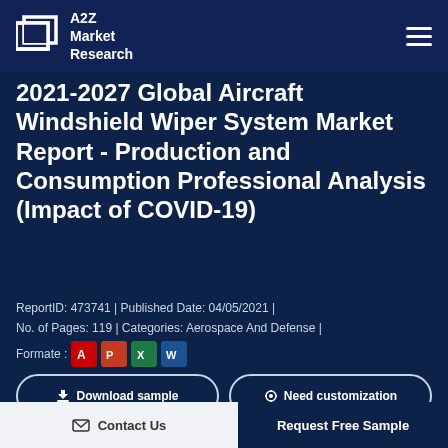A2Z Market Research
2021-2027 Global Aircraft Windshield Wiper System Market Report - Production and Consumption Professional Analysis (Impact of COVID-19)
ReportID: 473741 | Published Date: 04/05/2021 | No. of Pages: 119 | Categories: Aerospace And Defense | Formate :
Download sample   Need customization
Contact Us   Request Free Sample